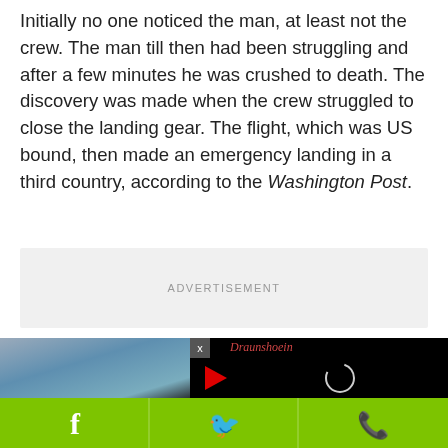Initially no one noticed the man, at least not the crew. The man till then had been struggling and after a few minutes he was crushed to death. The discovery was made when the crew struggled to close the landing gear. The flight, which was US bound, then made an emergency landing in a third country, according to the Washington Post.
ADVERTISEMENT
[Figure (screenshot): Video player screenshot showing a dark background with a video popup overlay. The popup has a close button (x), a red play button icon, and a loading spinner circle. The background shows a sky/airplane image. Below is a green social sharing bar with Facebook, Twitter, and WhatsApp icons.]